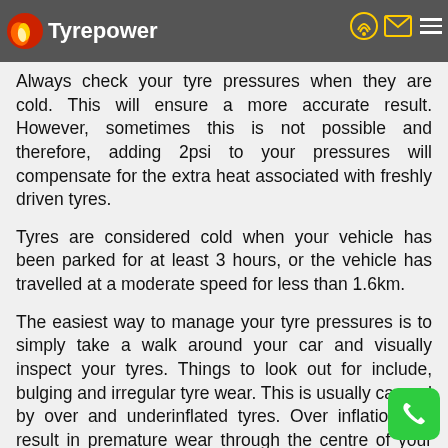Tyrepower
Always check your tyre pressures when they are cold. This will ensure a more accurate result. However, sometimes this is not possible and therefore, adding 2psi to your pressures will compensate for the extra heat associated with freshly driven tyres.
Tyres are considered cold when your vehicle has been parked for at least 3 hours, or the vehicle has travelled at a moderate speed for less than 1.6km.
The easiest way to manage your tyre pressures is to simply take a walk around your car and visually inspect your tyres. Things to look out for include, bulging and irregular tyre wear. This is usually caused by over and underinflated tyres. Over inflation will result in premature wear through the centre of your tyres and underinflation wears the outer sidewall of the tyre, usually from resting on the rim of your wheels..